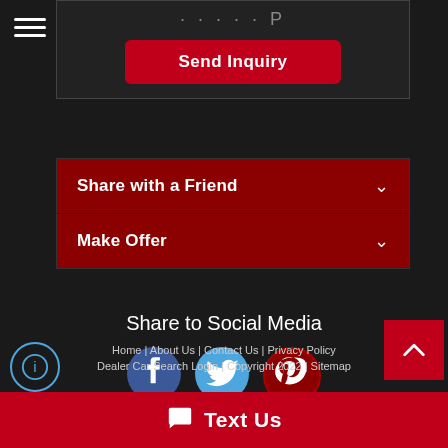[Figure (screenshot): Hamburger menu icon (three white horizontal lines) in top left corner]
[Figure (screenshot): Send Inquiry button in a dark panel with red background button]
[Figure (screenshot): Share with a Friend accordion row in dark red with chevron]
[Figure (screenshot): Make Offer accordion row in dark red with chevron]
Share to Social Media
[Figure (infographic): Three social media icons: Facebook (blue circle with f), Twitter (light blue circle with bird), Pinterest (dark red circle with P logo)]
Home | About Us | Contact Us | Privacy Policy | Dealer Car Search Login | Copyright 2022 | Sitemap
[Figure (screenshot): Back to top button (red square with white chevron up)]
[Figure (screenshot): Text Us bar at bottom with chat icon]
[Figure (screenshot): Info circle icon at bottom left]